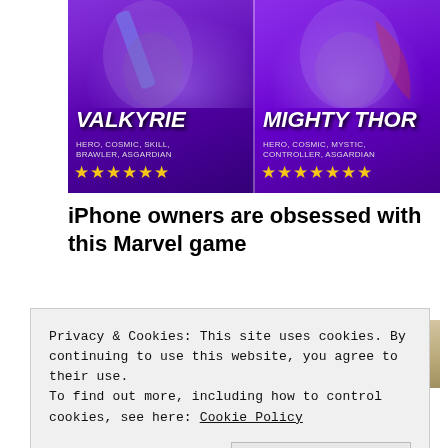[Figure (illustration): Marvel Strike Force game banner showing two heroes: Valkyrie (Hero, Cosmic, Skill, Brawler, Asgardian) with 6 gold stars on the left, and Mighty Thor (Hero, Cosmic, Mystic, Controller, Asgardian) with 7 gold stars on the right, against a purple gradient background.]
iPhone owners are obsessed with this Marvel game
MARVEL Strike Force
[Figure (photo): Partial view of a second image below, showing a light brown/stone textured background.]
Privacy & Cookies: This site uses cookies. By continuing to use this website, you agree to their use.
To find out more, including how to control cookies, see here: Cookie Policy
Close and accept